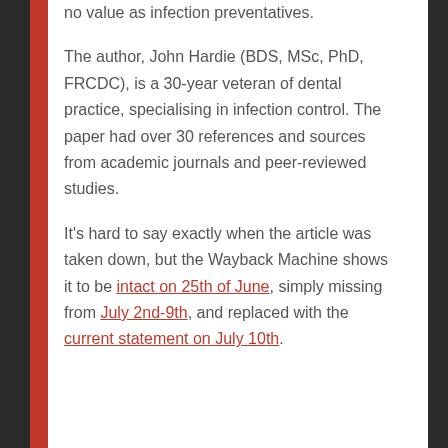no value as infection preventatives.
The author, John Hardie (BDS, MSc, PhD, FRCDC), is a 30-year veteran of dental practice, specialising in infection control. The paper had over 30 references and sources from academic journals and peer-reviewed studies.
It's hard to say exactly when the article was taken down, but the Wayback Machine shows it to be intact on 25th of June, simply missing from July 2nd-9th, and replaced with the current statement on July 10th.